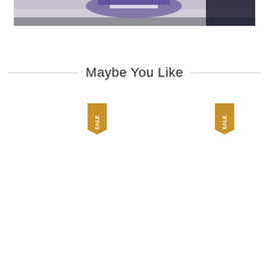[Figure (photo): Partial view of a shoe with purple and white design on a concrete surface]
Maybe You Like
[Figure (infographic): Sale badge ribbon on left product]
[Figure (infographic): Sale badge ribbon on right product]